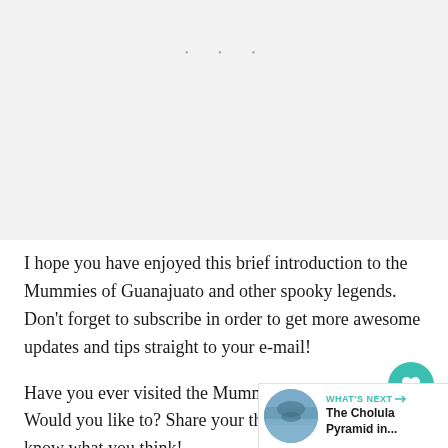[Figure (photo): Gray image placeholder area with three dot carousel indicator at top]
I hope you have enjoyed this brief introduction to the Mummies of Guanajuato and other spooky legends. Don't forget to subscribe in order to get more awesome updates and tips straight to your e-mail!
Have you ever visited the Mummies of Guanajuato? Would you like to? Share your thoughts and let us know what you think!
[Figure (infographic): WHAT'S NEXT arrow label with The Cholula Pyramid in... thumbnail widget in bottom right corner]